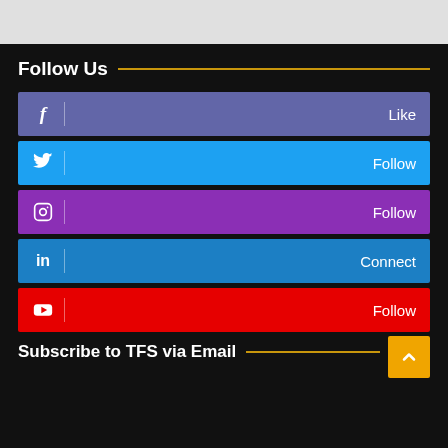Follow Us
Facebook - Like
Twitter - Follow
Instagram - Follow
LinkedIn - Connect
YouTube - Follow
Subscribe to TFS via Email